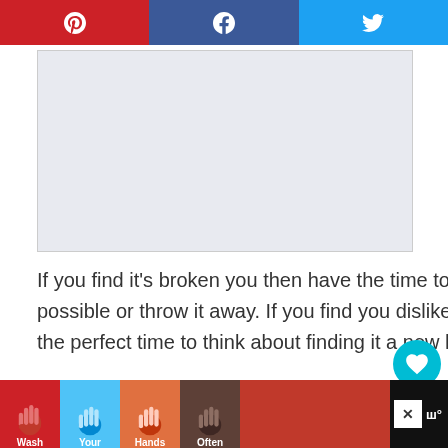[Figure (other): Social sharing bar with Pinterest (red), Facebook (dark blue), Twitter (light blue) icons]
[Figure (other): Advertisement placeholder box (light gray)]
If you find it's broken you then have the time to mend it if that is possible or throw it away. If you find you dislike the item, now is the perfect time to think about finding it a new home!
[Figure (other): Like button (teal circle with heart icon), count 63, and share button]
[Figure (other): What's Next widget: How To Begin Storing Your...]
Your options are:
[Figure (other): Bottom ad banner: Wash Your Hands Often with hand icons on dark background, X close button, site logo]